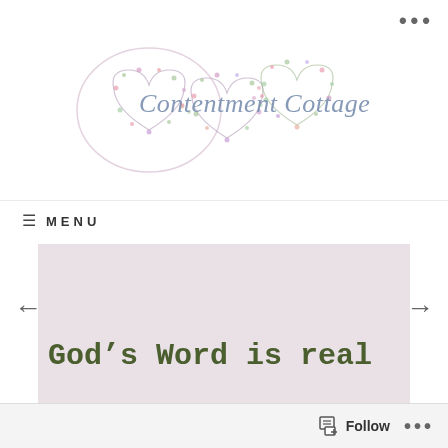[Figure (logo): Contentment Cottage logo: three overlapping floral heart shapes with cursive text 'Contentment Cottage' in blue/lavender]
...
≡  MENU
[Figure (illustration): Blog post slider area with light pink/lavender background, left and right navigation arrows, showing post titled 'God's Word is real']
God's Word is real
Follow ...